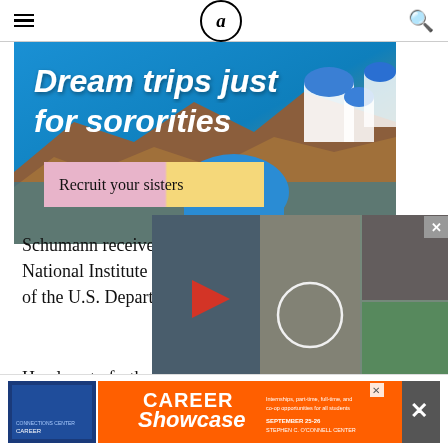a (logo)
[Figure (photo): Advertisement banner: Dream trips just for sororities. Recruit your sisters. Scenic Santorini Greece waterfront photo with colorful buildings.]
[Figure (photo): Image collage overlay showing a celebrity woman (Angelina Jolie) in multiple photos: by a private jet, in a grey dress, getting out of a car, by a pool estate.]
Schumann received $3. National Institute of Foo of the U.S. Department
He plans to further his research that he began in 2014
[Figure (photo): Bottom advertisement: Career Showcase event banner on orange background, with career connections center logo and event details.]